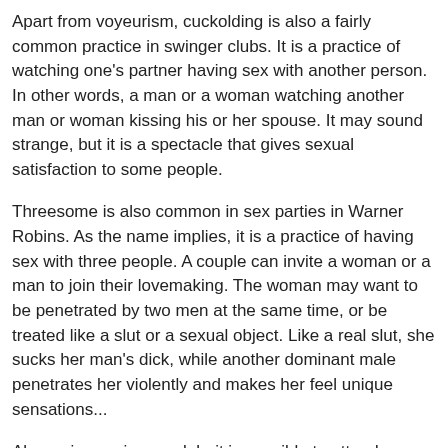Apart from voyeurism, cuckolding is also a fairly common practice in swinger clubs. It is a practice of watching one's partner having sex with another person. In other words, a man or a woman watching another man or woman kissing his or her spouse. It may sound strange, but it is a spectacle that gives sexual satisfaction to some people.
Threesome is also common in sex parties in Warner Robins. As the name implies, it is a practice of having sex with three people. A couple can invite a woman or a man to join their lovemaking. The woman may want to be penetrated by two men at the same time, or be treated like a slut or a sexual object. Like a real slut, she sucks her man's dick, while another dominant male penetrates her violently and makes her feel unique sensations...
Always in a swingers club, it is possible to attend sessions of cotism, that is to say couples who make love next to each other. They like the idea of having spectators and being able to watch other people having sex next to them as well. So you don't have to be modest if you want to feel comfortable in a place like this. You